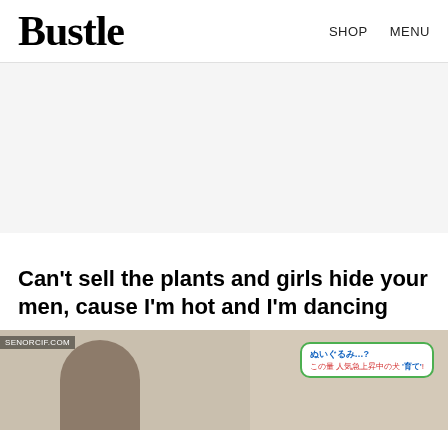Bustle  SHOP  MENU
[Figure (other): Advertisement placeholder block (light gray background)]
Can't sell the plants and girls hide your men, cause I'm hot and I'm dancing
[Figure (photo): Photo showing what appears to be a stuffed animal or plush toy on a fluffy white surface, with a Japanese-language overlay advertisement box with green border, blue and red text reading approximately 'ぬいぐるみ…? この量 人気急上昇中の犬 育て1']